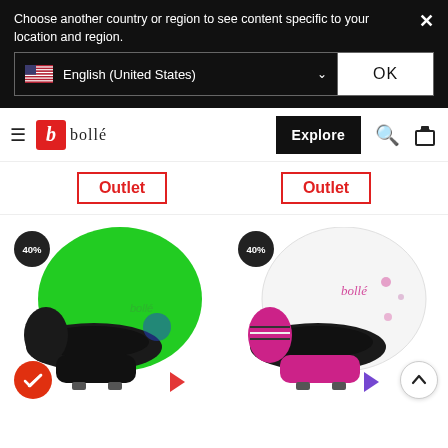Choose another country or region to see content specific to your location and region.
English (United States)
OK
[Figure (screenshot): Bollé brand navigation bar with hamburger menu, Bollé logo, Explore button, search icon, and bag icon]
Outlet
Outlet
[Figure (photo): Green Bollé ski helmet with 40% discount badge and compare checkmark badge]
[Figure (photo): White Bollé ski helmet with pink accents and 40% discount badge]